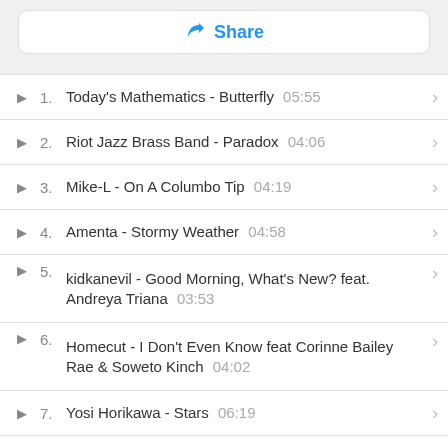Share
1. Today's Mathematics - Butterfly  05:55
2. Riot Jazz Brass Band - Paradox  04:06
3. Mike-L - On A Columbo Tip  04:19
4. Amenta - Stormy Weather  04:58
5. kidkanevil - Good Morning, What's New? feat. Andreya Triana  03:53
6. Homecut - I Don't Even Know feat Corinne Bailey Rae & Soweto Kinch  04:02
7. Yosi Horikawa - Stars  06:19
8. Frameworks - Dawn feat Rioghnach Connolly  05:06
9. Prayers Of A Non-Believer feat D.Ablo  04:16